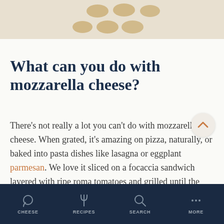[Figure (illustration): Decorative oval/dot shapes in tan/beige color arranged in two rows against a light background, resembling a mobile app header decoration]
What can you do with mozzarella cheese?
There's not really a lot you can't do with mozzarella cheese. When grated, it's amazing on pizza, naturally, or baked into pasta dishes like lasagna or eggplant parmesan. We love it sliced on a focaccia sandwich layered with ripe roma tomatoes and grilled until the cheese is good and gooey.
CHEESE   RECIPES   SEARCH   MORE